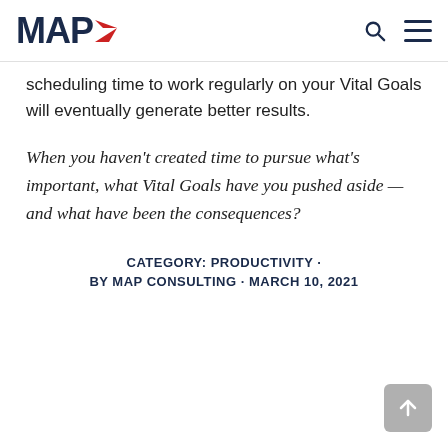MAP
scheduling time to work regularly on your Vital Goals will eventually generate better results.
When you haven't created time to pursue what's important, what Vital Goals have you pushed aside — and what have been the consequences?
CATEGORY: PRODUCTIVITY · BY MAP CONSULTING · MARCH 10, 2021